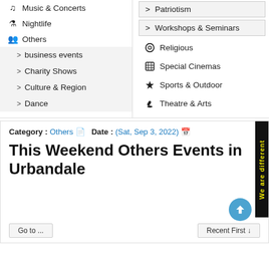🎵 Music & Concerts
🍸 Nightlife
👥 Others
> business events
> Charity Shows
> Culture & Region
> Dance
> Patriotism
> Workshops & Seminars
⚙ Religious
🎞 Special Cinemas
🏆 Sports & Outdoor
✏ Theatre & Arts
Category : Others   Date : (Sat, Sep 3, 2022)
This Weekend Others Events in Urbandale